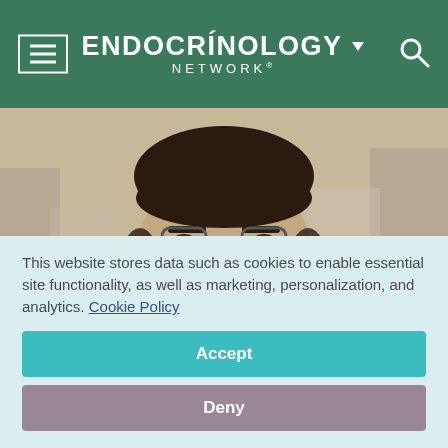ENDOCRINOLOGY NETWORK®
[Figure (photo): Close-up portrait of a smiling man with a beard and glasses, wearing a dark blazer over a patterned shirt, with a blurred outdoor background.]
This website stores data such as cookies to enable essential site functionality, as well as marketing, personalization, and analytics. Cookie Policy
Accept
Deny